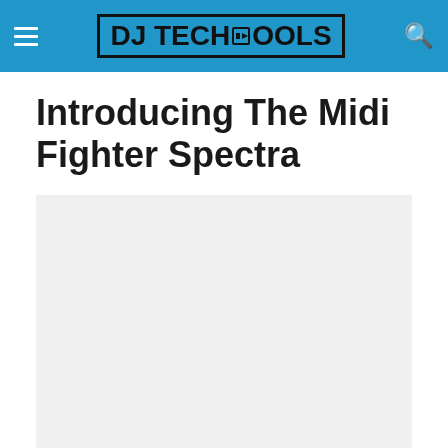DJ TechTools
Introducing The Midi Fighter Spectra
[Figure (photo): Placeholder image area for article content, light gray background]